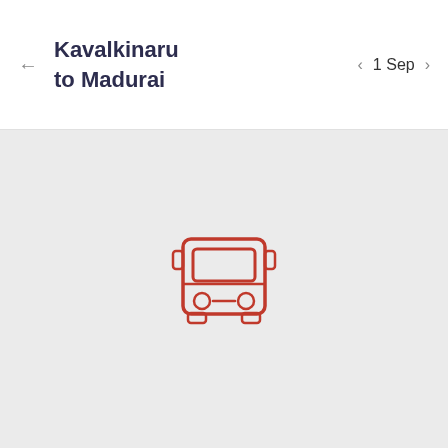← Kavalkinaru to Madurai   < 1 Sep >
[Figure (illustration): A red outline bus icon centered on a light gray background, showing the front view of a bus with two headlights, windshield, and bumper details.]